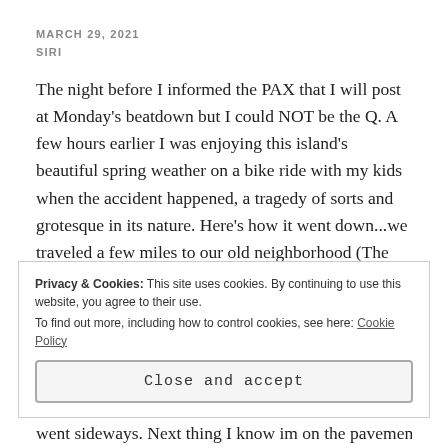MARCH 29, 2021
SIRI
The night before I informed the PAX that I will post at Monday's beatdown but I could NOT be the Q. A few hours earlier I was enjoying this island's beautiful spring weather on a bike ride with my kids when the accident happened, a tragedy of sorts and grotesque in its nature. Here's how it went down...we traveled a few miles to our old neighborhood (The Commons) and enjoyed some playtime with old neighbors. Re-filled my roady... again, and we
Privacy & Cookies: This site uses cookies. By continuing to use this website, you agree to their use.
To find out more, including how to control cookies, see here: Cookie Policy
Close and accept
went sideways. Next thing I know im on the pavement and